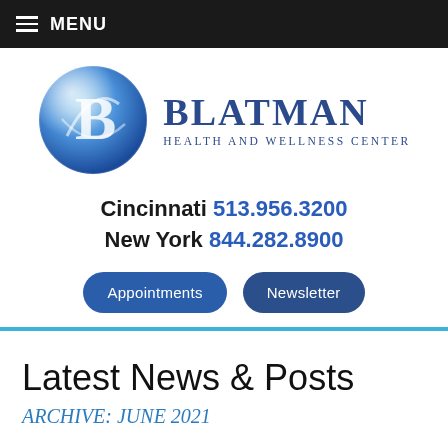MENU
[Figure (logo): Blatman Health and Wellness Center logo with blue sphere containing stylized B and brand name text]
Cincinnati 513.956.3200
New York 844.282.8900
Appointments   Newsletter
Latest News & Posts
ARCHIVE: JUNE 2021